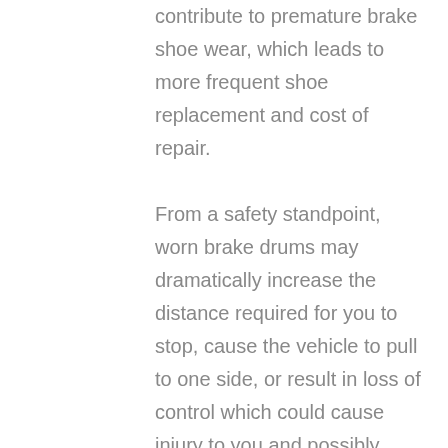contribute to premature brake shoe wear, which leads to more frequent shoe replacement and cost of repair.

From a safety standpoint, worn brake drums may dramatically increase the distance required for you to stop, cause the vehicle to pull to one side, or result in loss of control which could cause injury to you and possibly others. Neglecting brake drum maintenance has no environmental impact. Call us at 407-348-3400 or go to our website to